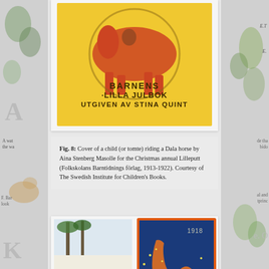[Figure (illustration): Book cover showing a child or tomte riding a Dala horse on a yellow background. Text reads: BARNENS LILLA JULBOK UTGIVEN AV STINA QUINT]
Fig. 8: Cover of a child (or tomte) riding a Dala horse by Aina Stenberg Masolle for the Christmas annual Lilleputt (Folkskolans Barntidnings förlag, 1913-1922). Courtesy of The Swedish Institute for Children's Books.
[Figure (illustration): Two illustrated book/magazine covers side by side. Left: A winter scene with children sledding on a Dala horse, labeled 1902, with text TUMMELITEN at bottom. Right: A blue-background cover dated 1918 showing a tomte riding a decorative Dala horse in orange/gold.]